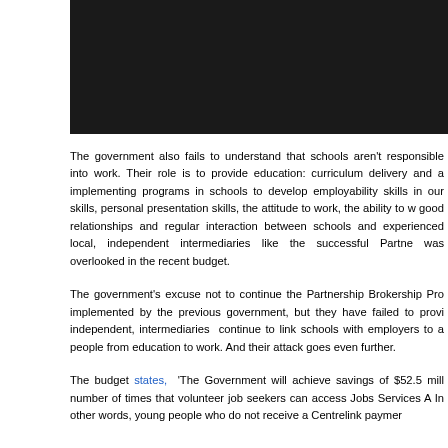[Figure (other): Dark/black banner image at top of page]
The government also fails to understand that schools aren't responsible into work. Their role is to provide education: curriculum delivery and a implementing programs in schools to develop employability skills in our skills, personal presentation skills, the attitude to work, the ability to w good relationships and regular interaction between schools and experienced local, independent intermediaries like the successful Partne was overlooked in the recent budget.
The government's excuse not to continue the Partnership Brokership Pro implemented by the previous government, but they have failed to provi independent, intermediaries  continue to link schools with employers to a people from education to work.  And their attack goes even further.
The budget states,  'The Government will achieve savings of $52.5 mill number of times that volunteer job seekers can access Jobs Services A In other words, young people who do not receive a Centrelink paymer